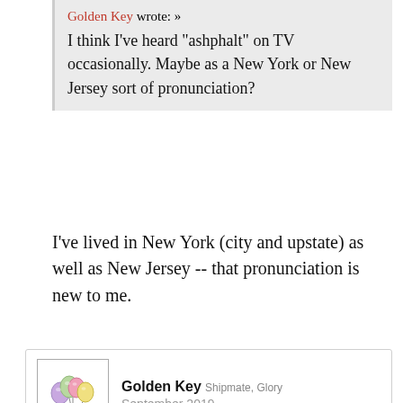Golden Key wrote: »
I think I've heard "ashphalt" on TV occasionally. Maybe as a New York or New Jersey sort of pronunciation?
I've lived in New York (city and upstate) as well as New Jersey -- that pronunciation is new to me.
Golden Key  Shipmate, Glory
September 2019
Ok, I did a little searching on "asphalt pronounced ashphalt". Here's one thing I found, on a Talk page of Wikipedia: